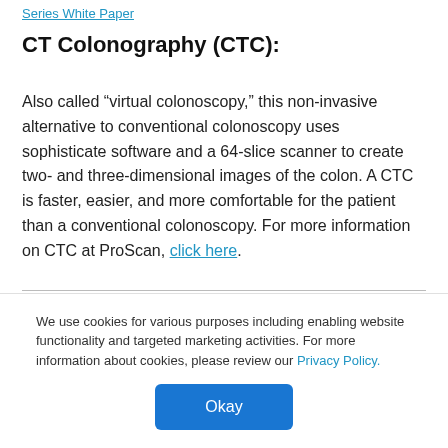Series White Paper
CT Colonography (CTC):
Also called “virtual colonoscopy,” this non-invasive alternative to conventional colonoscopy uses sophisticate software and a 64-slice scanner to create two- and three-dimensional images of the colon. A CTC is faster, easier, and more comfortable for the patient than a conventional colonoscopy. For more information on CTC at ProScan, click here.
We use cookies for various purposes including enabling website functionality and targeted marketing activities. For more information about cookies, please review our Privacy Policy.